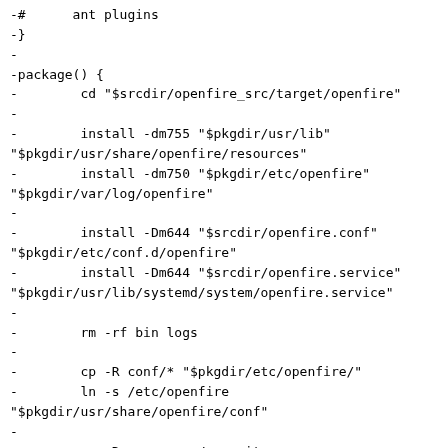-#      ant plugins
-}
-
-package() {
-        cd "$srcdir/openfire_src/target/openfire"
-
-        install -dm755 "$pkgdir/usr/lib"
"$pkgdir/usr/share/openfire/resources"
-        install -dm750 "$pkgdir/etc/openfire"
"$pkgdir/var/log/openfire"
-
-        install -Dm644 "$srcdir/openfire.conf"
"$pkgdir/etc/conf.d/openfire"
-        install -Dm644 "$srcdir/openfire.service"
"$pkgdir/usr/lib/systemd/system/openfire.service"
-
-        rm -rf bin logs
-
-        cp -R conf/* "$pkgdir/etc/openfire/"
-        ln -s /etc/openfire
"$pkgdir/usr/share/openfire/conf"
-
-        cp -R resources/security
"$pkgdir/etc/openfire/"
-        ln -s /etc/openfire/security
"$pkgdir/usr/share/openfire/resources/security"
-
-        cp -R plugins "$pkgdir/usr/share/openfire/"
-        cp -R resources/{database,spank}
"$pkgdir/usr/share/openfire/resources/"